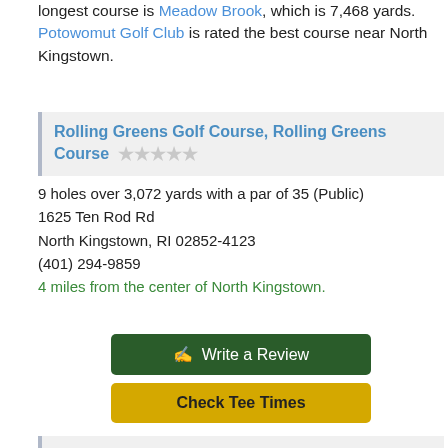... longest course is Meadow Brook, which is 7,468 yards. Potowomut Golf Club is rated the best course near North Kingstown.
Rolling Greens Golf Course, Rolling Greens Course ★☆☆☆☆
9 holes over 3,072 yards with a par of 35 (Public)
1625 Ten Rod Rd
North Kingstown, RI 02852-4123
(401) 294-9859
4 miles from the center of North Kingstown.
Write a Review
Check Tee Times
North Kingstown Golf Course, North Kingstown Course ★★☆☆☆ (1)
18 holes over 6,200 yards with a par of 70 (Municipal)